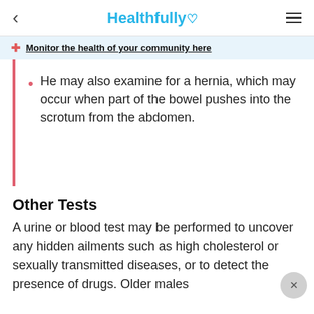Healthfully♡
Monitor the health of your community here
He may also examine for a hernia, which may occur when part of the bowel pushes into the scrotum from the abdomen.
Other Tests
A urine or blood test may be performed to uncover any hidden ailments such as high cholesterol or sexually transmitted diseases, or to detect the presence of drugs. Older males